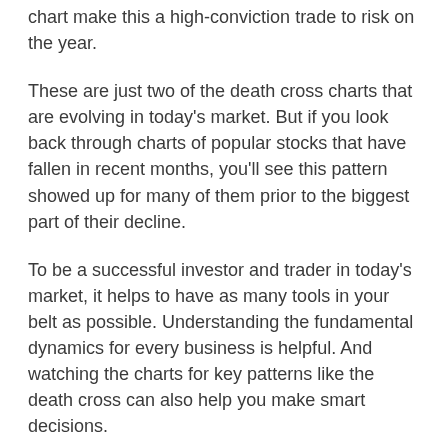chart make this a high-conviction trade to risk on the year.
These are just two of the death cross charts that are evolving in today's market. But if you look back through charts of popular stocks that have fallen in recent months, you'll see this pattern showed up for many of them prior to the biggest part of their decline.
To be a successful investor and trader in today's market, it helps to have as many tools in your belt as possible. Understanding the fundamental dynamics for every business is helpful. And watching the charts for key patterns like the death cross can also help you make smart decisions.
Here's to protecting your wealth in 2022!